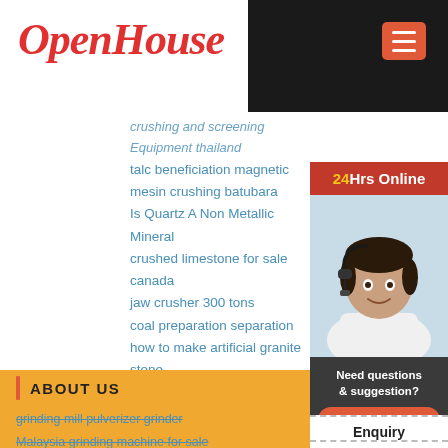[Figure (logo): OpenHouse logo in red italic script font]
crushing and screening Equipment thailand
talc beneficiation magnetic
mesin crushing batubara
Is Quartz A Non Metallic Mineral
crushed limestone for sale canada
jaw crusher 300 tons
coal preparation separation
how to make artificial granite stone
odisha govt circular on siting criteria of stone C
vibrating screens for sale in usa
ABOUT US
grinding mill pulverizer grinder
Malaysia grinding machine for sale
centrifugal force grinding
how how to start a stone quarry business in nigeria
[Figure (photo): 24Hrs Online banner with customer service representative photo, Need questions & suggestion text, Chat Now button, Enquiry section, mumumugoods section]